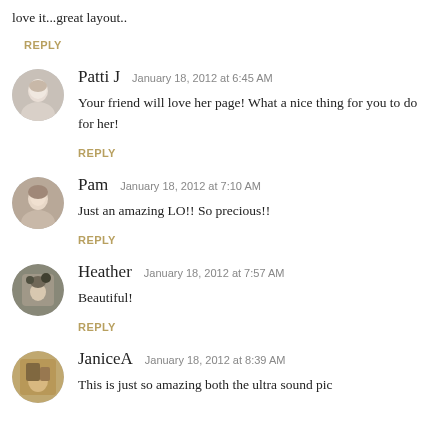love it...great layout..
REPLY
Patti J  January 18, 2012 at 6:45 AM
Your friend will love her page! What a nice thing for you to do for her!
REPLY
Pam  January 18, 2012 at 7:10 AM
Just an amazing LO!! So precious!!
REPLY
Heather  January 18, 2012 at 7:57 AM
Beautiful!
REPLY
JaniceA  January 18, 2012 at 8:39 AM
This is just so amazing both the ultra sound pic